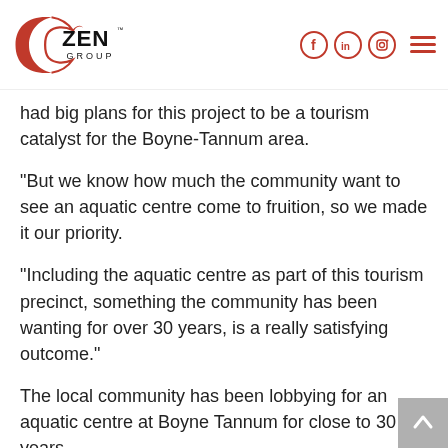[Figure (logo): Zen Group logo with red crescent/circle graphic and ZEN GROUP text in black]
had big plans for this project to be a tourism catalyst for the Boyne-Tannum area.
“But we know how much the community want to see an aquatic centre come to fruition, so we made it our priority.
“Including the aquatic centre as part of this tourism precinct, something the community has been wanting for over 30 years, is a really satisfying outcome.”
The local community has been lobbying for an aquatic centre at Boyne Tannum for close to 30 years.